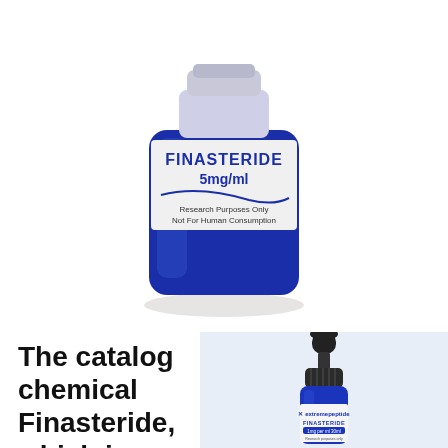[Figure (photo): Blue glass bottle labeled FINASTERIDE 5mg/ml, Research Purposes Only, Not For Human Consumption]
The catalog chemical Finasteride, which is somet
[Figure (photo): Blue dropper bottle labeled extremepeptide FINASTERIDE 1mg per ml 30ml on a light blue background]